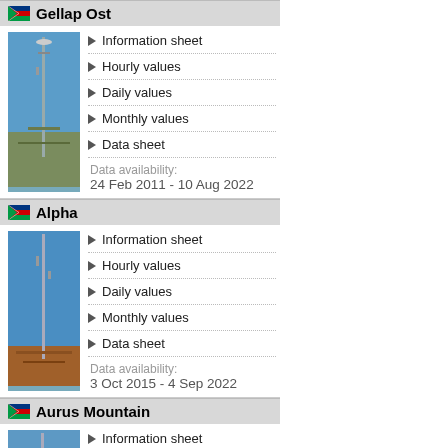Gellap Ost
[Figure (photo): Weather station photo at Gellap Ost - metal pole with instruments against blue sky and shrubby landscape]
Information sheet
Hourly values
Daily values
Monthly values
Data sheet
Data availability:
24 Feb 2011 - 10 Aug 2022
Alpha
[Figure (photo): Weather station photo at Alpha - tall metal mast against blue sky with desert scrub]
Information sheet
Hourly values
Daily values
Monthly values
Data sheet
Data availability:
3 Oct 2015 - 4 Sep 2022
Aurus Mountain
[Figure (photo): Weather station photo at Aurus Mountain - tall metal mast against blue sky with rocky desert ground]
Information sheet
Hourly values
Daily values
Monthly values
Data sheet
Data availability:
11 Dec 2020 - 22 Apr 2021